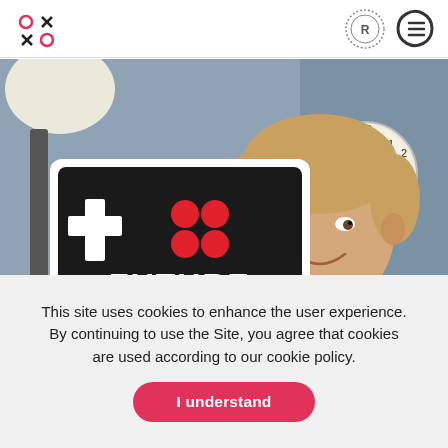OXO logo and navigation icons
[Figure (photo): A young man holding a black sign reading FUTURE GAMES with a white plus sign and red dots game controller icon, standing in a room with a clock on the wall]
This site uses cookies to enhance the user experience. By continuing to use the Site, you agree that cookies are used according to our cookie policy.
I understand